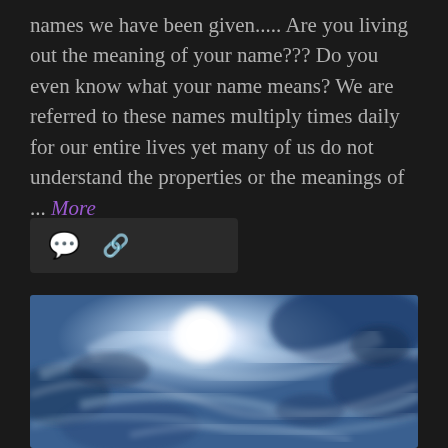names we have been given..... Are you living out the meaning of your name??? Do you even know what your name means? We are referred to these names multiply times daily for our entire lives yet many of us do not understand the properties or the meanings of ... More
[Figure (photo): Social media action bar with comment bubble icon and share/link icon on dark background]
[Figure (photo): Dramatic sky photo with bright white sun or moon shining through wispy blue and white clouds]